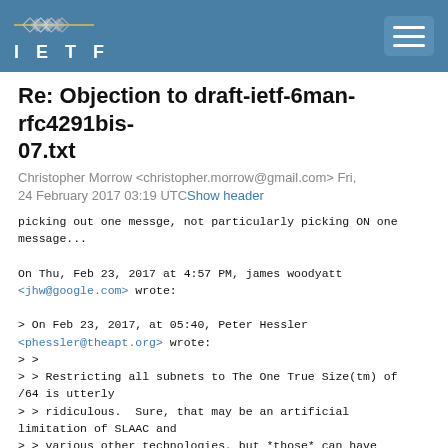IETF
Re: Objection to draft-ietf-6man-rfc4291bis-07.txt
Christopher Morrow <christopher.morrow@gmail.com> Fri, 24 February 2017 03:19 UTC Show header
picking out one messge, not particularly picking ON one
message...

On Thu, Feb 23, 2017 at 4:57 PM, james woodyatt
<jhw@google.com> wrote:

> On Feb 23, 2017, at 05:40, Peter Hessler
<phessler@theapt.org> wrote:
> >
> > Restricting all subnets to The One True Size(tm) of /64 is utterly
> > ridiculous.  Sure, that may be an artificial limitation of SLAAC and
> > various other technologies, but *those* can have limitations.
> >
> > Limiting it inside the entire specification is even